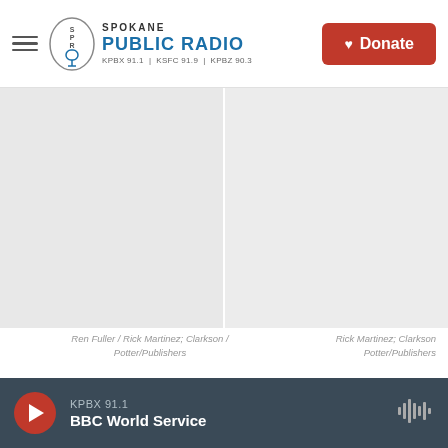[Figure (logo): Spokane Public Radio logo with SPR microphone icon, text: SPOKANE PUBLIC RADIO, KPBX 91.1 | KSFC 91.9 | KPBZ 90.3]
[Figure (photo): Large image area split into two photos (left and right) showing tacos gobernador, placeholder white/gray area]
Ren Fuller / Rick Martinez; Clarkson / Potter/Publishers
Rick Martinez; Clarkson Potter/Publishers
Martínez says tacos gobernador are an "iconic dish of Mazatlán," the city where he now lives.
KPBX 91.1  BBC World Service